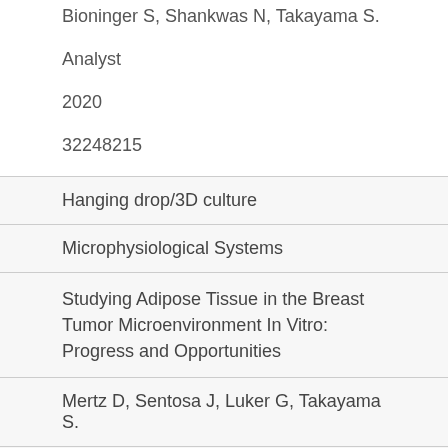Bioninger S, Shankwas N, Takayama S.
Analyst
2020
32248215
| Hanging drop/3D culture |
| Microphysiological Systems |
| Studying Adipose Tissue in the Breast Tumor Microenvironment In Vitro: Progress and Opportunities |
| Mertz D, Sentosa J, Luker G, Takayama S. |
| Tissue Eng Regen Med |
| 2020 |